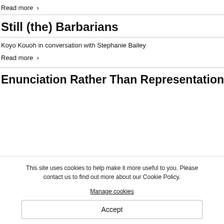Read more ›
Still (the) Barbarians
Koyo Kouoh in conversation with Stephanie Bailey
Read more ›
Enunciation Rather Than Representation
This site uses cookies to help make it more useful to you. Please contact us to find out more about our Cookie Policy.
Manage cookies
Accept